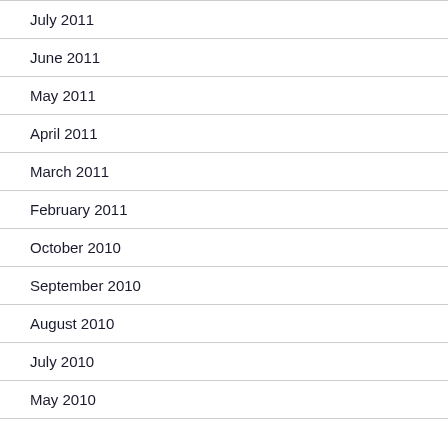July 2011
June 2011
May 2011
April 2011
March 2011
February 2011
October 2010
September 2010
August 2010
July 2010
May 2010